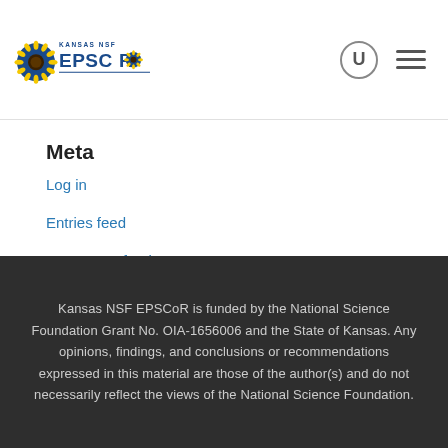Kansas NSF EPSCoR logo with search and menu icons
Meta
Log in
Entries feed
Comments feed
WordPress.org
Kansas NSF EPSCoR is funded by the National Science Foundation Grant No. OIA-1656006 and the State of Kansas. Any opinions, findings, and conclusions or recommendations expressed in this material are those of the author(s) and do not necessarily reflect the views of the National Science Foundation.